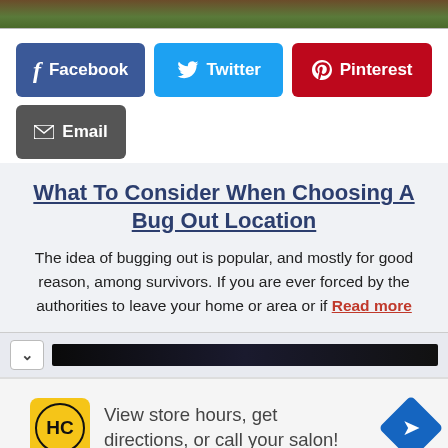[Figure (photo): Partial top image showing log cabin or wooden structure with greenery]
[Figure (infographic): Social share buttons: Facebook (blue), Twitter (cyan), Pinterest (red), Email (dark gray)]
What To Consider When Choosing A Bug Out Location
The idea of bugging out is popular, and mostly for good reason, among survivors. If you are ever forced by the authorities to leave your home or area or if Read more
[Figure (screenshot): Video thumbnail bar with collapse chevron and dark video strip]
[Figure (infographic): Advertisement: HC logo (yellow background, black circle), text 'View store hours, get directions, or call your salon!', blue navigation diamond icon]